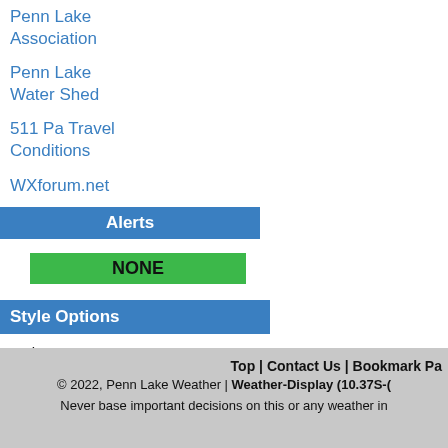Penn Lake Association
Penn Lake Water Shed
511 Pa Travel Conditions
WXforum.net
Alerts
NONE
Style Options
Style: Blue (dropdown) Widescreen: On (radio off) | Off (radio on) Set (button)
Top | Contact Us | Bookmark Pa © 2022, Penn Lake Weather | Weather-Display (10.37S-( Never base important decisions on this or any weather in